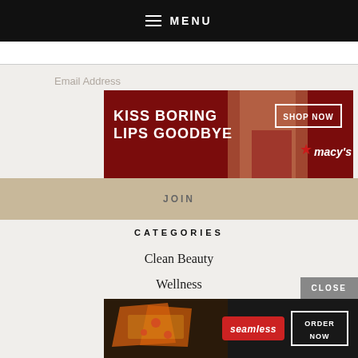☰ MENU
Email Address
[Figure (screenshot): Macy's advertisement banner: KISS BORING LIPS GOODBYE with woman wearing red lipstick, SHOP NOW button and macy's star logo]
JOIN
CATEGORIES
Clean Beauty
Wellness
Lifestyle
Recipes
CLOSE
[Figure (screenshot): Seamless food delivery advertisement banner showing pizza slices, Seamless logo in red, ORDER NOW button]